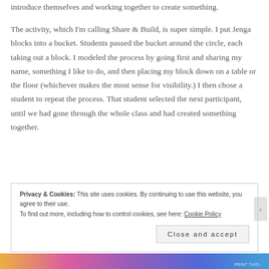introduce themselves and working together to create something.
The activity, which I'm calling Share & Build, is super simple. I put Jenga blocks into a bucket. Students passed the bucket around the circle, each taking out a block. I modeled the process by going first and sharing my name, something I like to do, and then placing my block down on a table or the floor (whichever makes the most sense for visibility.) I then chose a student to repeat the process. That student selected the next participant, until we had gone through the whole class and had created something together.
Privacy & Cookies: This site uses cookies. By continuing to use this website, you agree to their use.
To find out more, including how to control cookies, see here: Cookie Policy
Close and accept